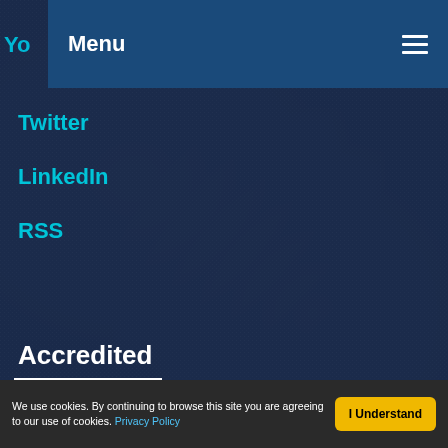Menu
Yo...
Twitter
LinkedIn
RSS
Accredited
[Figure (logo): CPD Member - The CPD Certification Service logo with purple CPD letters and checkmark watermark]
We use cookies. By continuing to browse this site you are agreeing to our use of cookies. Privacy Policy
I Understand